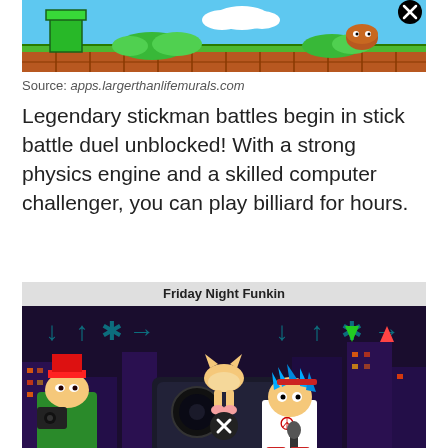[Figure (screenshot): Super Mario Bros style game screenshot showing green pipes, bushes, blue sky and brown brick ground with a close button overlay]
Source: apps.largerthanlifemurals.com
Legendary stickman battles begin in stick battle duel unblocked! With a strong physics engine and a skilled computer challenger, you can play billiard for hours.
[Figure (screenshot): Friday Night Funkin game screenshot showing characters including a boy with blue hair holding a microphone and another character, with arrow indicators on screen]
Source: cs.andocon.org
The table's remaining rounds are split into two halves. The adventures of rocky and